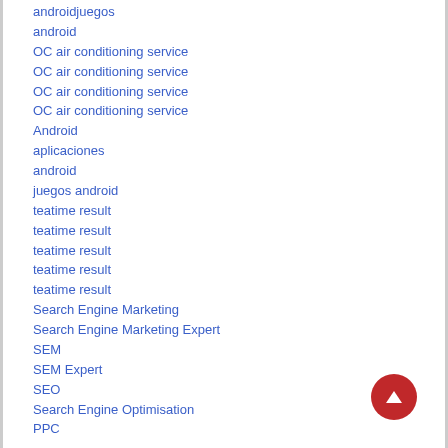androidjuegos
android
OC air conditioning service
OC air conditioning service
OC air conditioning service
OC air conditioning service
Android
aplicaciones
android
juegos android
teatime result
teatime result
teatime result
teatime result
teatime result
Search Engine Marketing
Search Engine Marketing Expert
SEM
SEM Expert
SEO
Search Engine Optimisation
PPC
[Figure (other): Red circular scroll-to-top button with upward arrow]